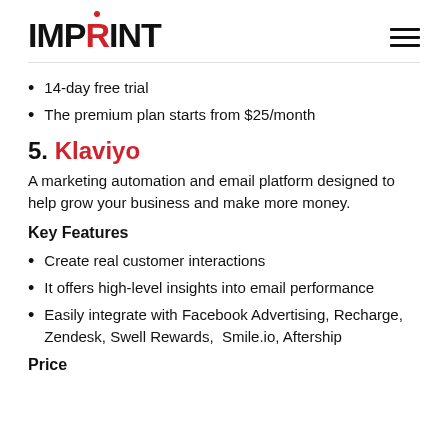IMPRINT
14-day free trial
The premium plan starts from $25/month
5. Klaviyo
A marketing automation and email platform designed to help grow your business and make more money.
Key Features
Create real customer interactions
It offers high-level insights into email performance
Easily integrate with Facebook Advertising, Recharge, Zendesk, Swell Rewards, Smile.io, Aftership
Price